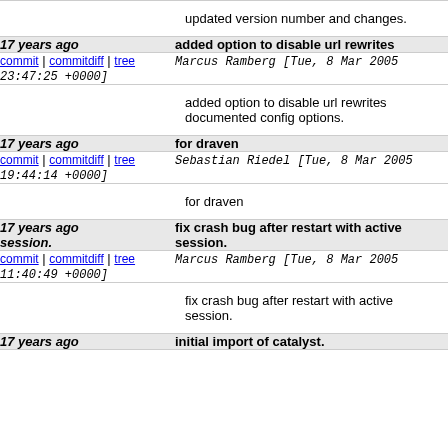updated version number and changes.
17 years ago | added option to disable url rewrites
commit | commitdiff | tree  Marcus Ramberg [Tue, 8 Mar 2005 23:47:25 +0000]
added option to disable url rewrites documented config options.
17 years ago | for draven
commit | commitdiff | tree  Sebastian Riedel [Tue, 8 Mar 2005 19:44:14 +0000]
for draven
17 years ago | fix crash bug after restart with active session.
commit | commitdiff | tree  Marcus Ramberg [Tue, 8 Mar 2005 11:40:49 +0000]
fix crash bug after restart with active session.
17 years ago | initial import of catalyst.